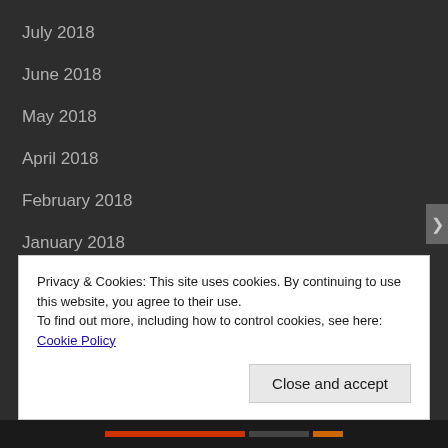July 2018
June 2018
May 2018
April 2018
February 2018
January 2018
December 2017
November 2017
October 2017
Privacy & Cookies: This site uses cookies. By continuing to use this website, you agree to their use.
To find out more, including how to control cookies, see here: Cookie Policy
Close and accept